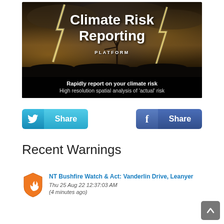[Figure (illustration): Climate Risk Reporting Platform banner image with stormy sky, lightning, and wind turbines. Text overlay: 'Climate Risk Reporting PLATFORM', 'Rapidly report on your climate risk', 'High resolution spatial analysis of actual risk']
[Figure (illustration): Twitter Share button (blue) and Facebook Share button (dark blue)]
Recent Warnings
NT Bushfire Watch & Act: Vanderlin Drive, Leanyer
Thu 25 Aug 22 12:37:03 AM
(4 minutes ago)